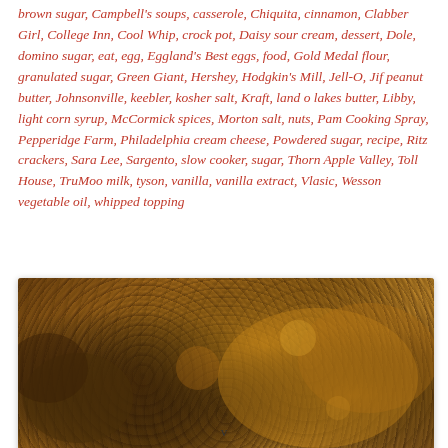brown sugar, Campbell's soups, casserole, Chiquita, cinnamon, Clabber Girl, College Inn, Cool Whip, crock pot, Daisy sour cream, dessert, Dole, domino sugar, eat, egg, Eggland's Best eggs, food, Gold Medal flour, granulated sugar, Green Giant, Hershey, Hodgkin's Mill, Jell-O, Jif peanut butter, Johnsonville, keebler, kosher salt, Kraft, land o lakes butter, Libby, light corn syrup, McCormick spices, Morton salt, nuts, Pam Cooking Spray, Pepperidge Farm, Philadelphia cream cheese, Powdered sugar, recipe, Ritz crackers, Sara Lee, Sargento, slow cooker, sugar, Thorn Apple Valley, Toll House, TruMoo milk, tyson, vanilla, vanilla extract, Vlasic, Wesson vegetable oil, whipped topping
[Figure (photo): Close-up photo of a baked granola or nut-crumble topping with golden brown caramelized coating, showing nuts, oats, and seeds clustered together with a glossy caramel finish.]
v